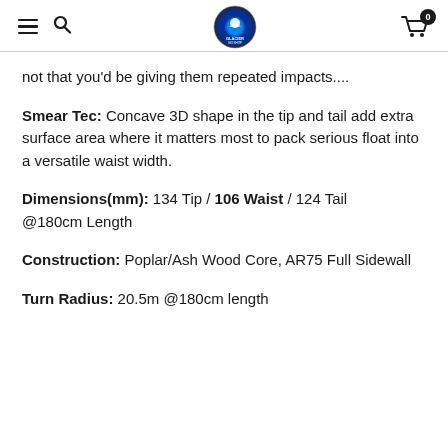Glacier Ski Shop navigation header with logo and cart
not that you'd be giving them repeated impacts....
Smear Tec:  Concave 3D shape in the tip and tail add extra surface area where it matters most to pack serious float into a versatile waist width.
Dimensions(mm):  134 Tip /  106  Waist  / 124 Tail @180cm Length
Construction:  Poplar/Ash Wood Core, AR75 Full Sidewall
Turn Radius:  20.5m @180cm length